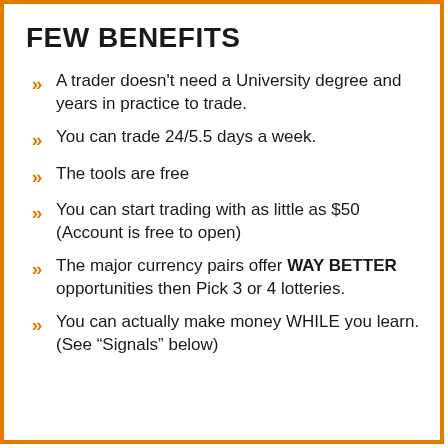FEW BENEFITS
A trader doesn't need a University degree and years in practice to trade.
You can trade 24/5.5 days a week.
The tools are free
You can start trading with as little as $50 (Account is free to open)
The major currency pairs offer WAY BETTER opportunities then Pick 3 or 4 lotteries.
You can actually make money WHILE you learn. (See “Signals” below)